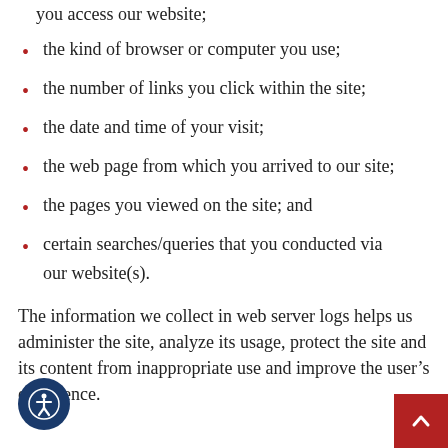you access our website;
the kind of browser or computer you use;
the number of links you click within the site;
the date and time of your visit;
the web page from which you arrived to our site;
the pages you viewed on the site; and
certain searches/queries that you conducted via our website(s).
The information we collect in web server logs helps us administer the site, analyze its usage, protect the site and its content from inappropriate use and improve the user’s experience.